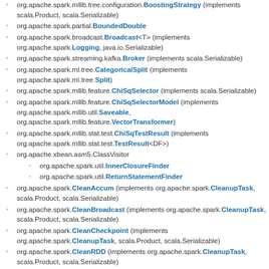org.apache.spark.mllib.tree.configuration.BoostingStrategy (implements scala.Product, scala.Serializable)
org.apache.spark.partial.BoundedDouble
org.apache.spark.broadcast.Broadcast<T> (implements org.apache.spark.Logging, java.io.Serializable)
org.apache.spark.streaming.kafka.Broker (implements scala.Serializable)
org.apache.spark.ml.tree.CategoricalSplit (implements org.apache.spark.ml.tree.Split)
org.apache.spark.mllib.feature.ChiSqSelector (implements scala.Serializable)
org.apache.spark.mllib.feature.ChiSqSelectorModel (implements org.apache.spark.mllib.util.Saveable, org.apache.spark.mllib.feature.VectorTransformer)
org.apache.spark.mllib.stat.test.ChiSqTestResult (implements org.apache.spark.mllib.stat.test.TestResult<DF>)
org.apache.xbean.asm5.ClassVisitor
org.apache.spark.util.InnerClosureFinder
org.apache.spark.util.ReturnStatementFinder
org.apache.spark.CleanAccum (implements org.apache.spark.CleanupTask, scala.Product, scala.Serializable)
org.apache.spark.CleanBroadcast (implements org.apache.spark.CleanupTask, scala.Product, scala.Serializable)
org.apache.spark.CleanCheckpoint (implements org.apache.spark.CleanupTask, scala.Product, scala.Serializable)
org.apache.spark.CleanRDD (implements org.apache.spark.CleanupTask, scala.Product, scala.Serializable)
org.apache.spark.CleanShuffle (implements